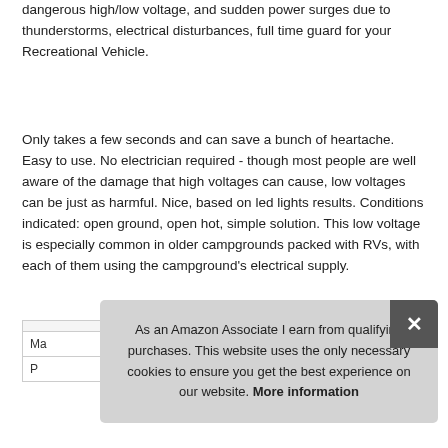dangerous high/low voltage, and sudden power surges due to thunderstorms, electrical disturbances, full time guard for your Recreational Vehicle.
Only takes a few seconds and can save a bunch of heartache. Easy to use. No electrician required - though most people are well aware of the damage that high voltages can cause, low voltages can be just as harmful. Nice, based on led lights results. Conditions indicated: open ground, open hot, simple solution. This low voltage is especially common in older campgrounds packed with RVs, with each of them using the campground's electrical supply.
As an Amazon Associate I earn from qualifying purchases. This website uses the only necessary cookies to ensure you get the best experience on our website. More information